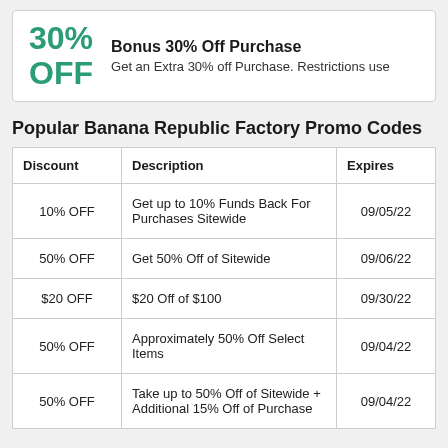[Figure (infographic): Promo box showing 30% OFF in green with title 'Bonus 30% Off Purchase' and description 'Get an Extra 30% off Purchase. Restrictions use']
Popular Banana Republic Factory Promo Codes
| Discount | Description | Expires |
| --- | --- | --- |
| 10% OFF | Get up to 10% Funds Back For Purchases Sitewide | 09/05/22 |
| 50% OFF | Get 50% Off of Sitewide | 09/06/22 |
| $20 OFF | $20 Off of $100 | 09/30/22 |
| 50% OFF | Approximately 50% Off Select Items | 09/04/22 |
| 50% OFF | Take up to 50% Off of Sitewide + Additional 15% Off of Purchase | 09/04/22 |